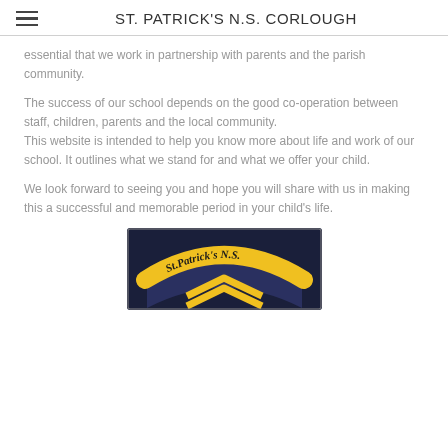ST. PATRICK'S N.S. CORLOUGH
essential that we work in partnership with parents and the parish community.
The success of our school depends on the good co-operation between staff, children, parents and the local community.
This website is intended to help you know more about life and work of our school. It outlines what we stand for and what we offer your child.
We look forward to seeing you and hope you will share with us in making this a successful and memorable period in your child's life.
[Figure (photo): St. Patrick's N.S. school badge/crest on dark navy background with yellow lettering]